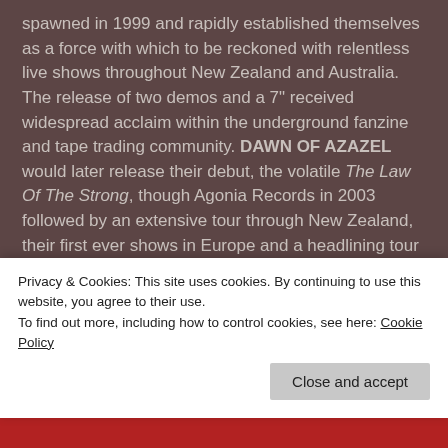spawned in 1999 and rapidly established themselves as a force with which to be reckoned with relentless live shows throughout New Zealand and Australia. The release of two demos and a 7" received widespread acclaim within the underground fanzine and tape trading community. DAWN OF AZAZEL would later release their debut, the volatile The Law Of The Strong, though Agonia Records in 2003 followed by an extensive tour through New Zealand, their first ever shows in Europe and a headlining tour of Australia. Second full-length, Sedition, was unleashed via Ibex Moon and found the band playing over one-hundred-and-twenty shows with their infamy further bolstered by the controversial mix of the band's violent and Satanic lyrical content and frontman Rigel Walshe's occupation as a police officer becoming the subject of television and newspaper coverage at home and abroad.
Privacy & Cookies: This site uses cookies. By continuing to use this website, you agree to their use.
To find out more, including how to control cookies, see here: Cookie Policy
Close and accept